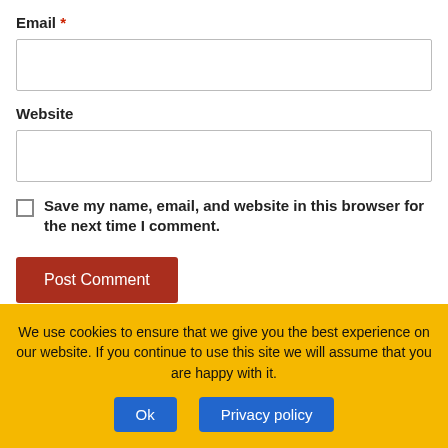Email *
Website
Save my name, email, and website in this browser for the next time I comment.
Post Comment
Recent Posts
We use cookies to ensure that we give you the best experience on our website. If you continue to use this site we will assume that you are happy with it.
Ok
Privacy policy